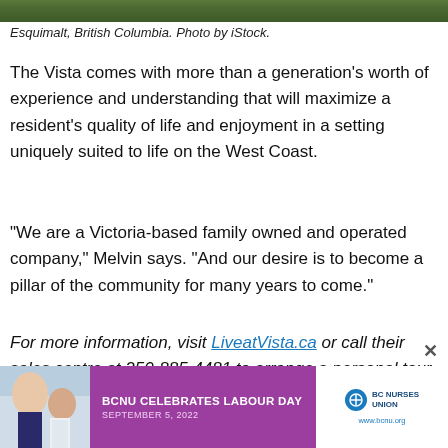[Figure (photo): Photo strip showing Esquimalt, British Columbia landscape]
Esquimalt, British Columbia. Photo by iStock.
The Vista comes with more than a generation's worth of experience and understanding that will maximize a resident's quality of life and enjoyment in a setting uniquely suited to life on the West Coast.
“We are a Victoria-based family owned and operated company,” Melvin says. “And our desire is to become a pillar of the community for many years to come.”
For more information, visit LiveatVista.ca or call their sales centre at 250-885-4481 to arrange a personal tour.
[Figure (photo): BCNU Celebrates Labour Day advertisement banner, September 5, 2022, BC Nurses Union]